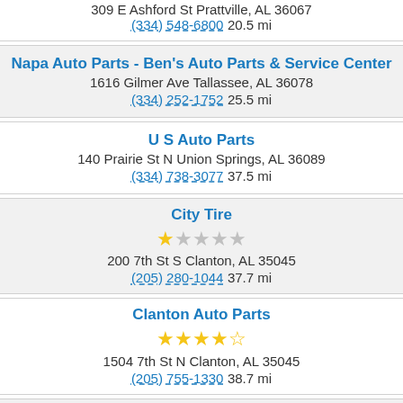309 E Ashford St Prattville, AL 36067
(334) 548-6800 20.5 mi
Napa Auto Parts - Ben's Auto Parts & Service Center
1616 Gilmer Ave Tallassee, AL 36078
(334) 252-1752 25.5 mi
U S Auto Parts
140 Prairie St N Union Springs, AL 36089
(334) 738-3077 37.5 mi
City Tire
1 star out of 5
200 7th St S Clanton, AL 35045
(205) 280-1044 37.7 mi
Clanton Auto Parts
4.5 stars out of 5
1504 7th St N Clanton, AL 35045
(205) 755-1330 38.7 mi
Speed Brior Auto Parts
915 E Commerce St Greenville, AL 36037
(334) 382-3138 41.4 mi